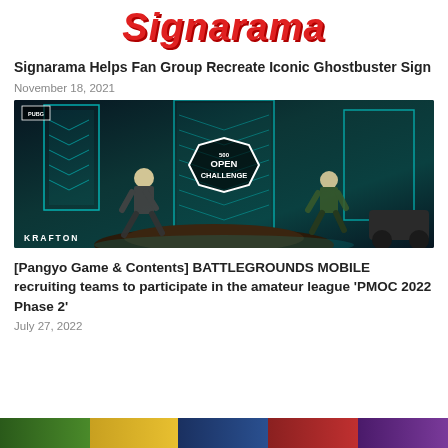[Figure (logo): Signarama logo in large red italic bold text on white background]
Signarama Helps Fan Group Recreate Iconic Ghostbuster Sign
November 18, 2021
[Figure (photo): PUBG Mobile Open Challenge promotional image showing game characters in a sci-fi environment with teal/cyan lighting, KRAFTON logo at bottom left, PUBG badge top left, and a hexagonal OPEN CHALLENGE badge in the center]
[Pangyo Game & Contents] BATTLEGROUNDS MOBILE recruiting teams to participate in the amateur league 'PMOC 2022 Phase 2'
July 27, 2022
[Figure (photo): Partial view of a colorful image strip at the bottom of the page showing multiple colored segments]